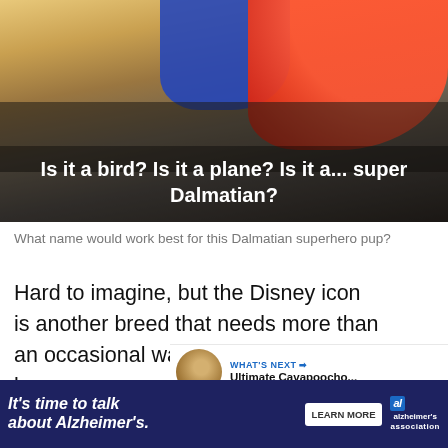[Figure (photo): A Dalmatian dog dressed as a superhero with a red cape and blue costume, outdoors with warm sunset lighting. Text overlay reads: Is it a bird? Is it a plane? Is it a... super Dalmatian?]
What name would work best for this Dalmatian superhero pup?
Hard to imagine, but the Disney icon is another breed that needs more than an occasional walk. Dalmations can become aggressive if they aren't exercised and taught to mind their manners.
[Figure (photo): Military personnel wearing face masks; partial view of soldiers in camouflage uniforms.]
WHAT'S NEXT → Ultimate Cavapoocho...
[Figure (photo): Thumbnail image of a Cavapoo dog for 'What's Next' recommendation widget.]
It's time to talk about Alzheimer's.